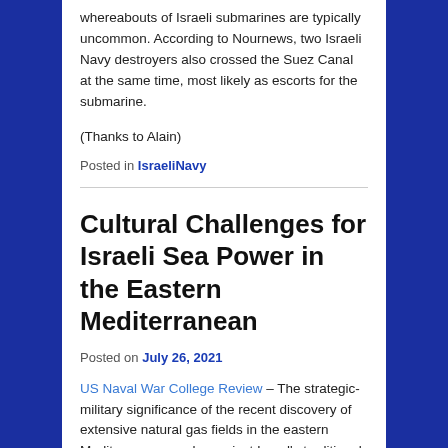whereabouts of Israeli submarines are typically uncommon. According to Nournews, two Israeli Navy destroyers also crossed the Suez Canal at the same time, most likely as escorts for the submarine.
(Thanks to Alain)
Posted in IsraeliNavy
Cultural Challenges for Israeli Sea Power in the Eastern Mediterranean
Posted on July 26, 2021
US Naval War College Review – The strategic-military significance of the recent discovery of extensive natural gas fields in the eastern Mediterranean works against Israel's traditional reluctance to become a sea power. But